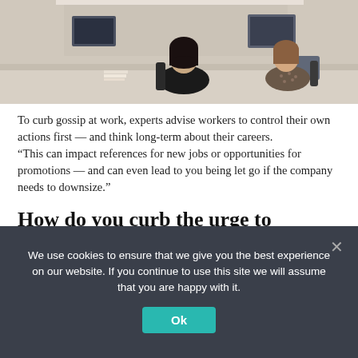[Figure (photo): Two women sitting at office desks in an open office environment, viewed from behind/side.]
To curb gossip at work, experts advise workers to control their own actions first — and think long-term about their careers.
“This can impact references for new jobs or opportunities for promotions — and can even lead to you being let go if the company needs to downsize.”
How do you curb the urge to gossip?
First, control your own actions, experts advise.
We use cookies to ensure that we give you the best experience on our website. If you continue to use this site we will assume that you are happy with it.